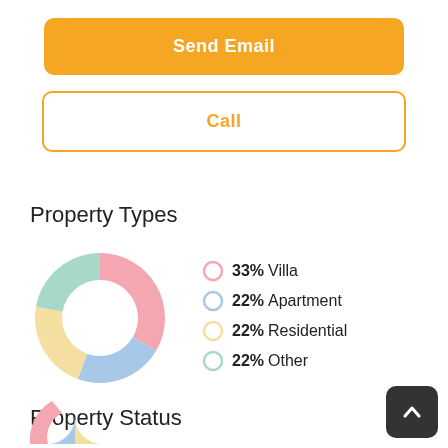Send Email
Call
Property Types
[Figure (donut-chart): Property Types]
Property Status